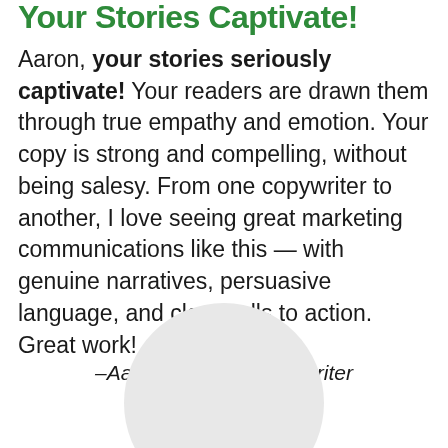Your Stories Captivate!
Aaron, your stories seriously captivate! Your readers are drawn them through true empathy and emotion. Your copy is strong and compelling, without being salesy. From one copywriter to another, I love seeing great marketing communications like this — with genuine narratives, persuasive language, and clear calls to action. Great work!
–Aaron Hughes, Copywriter Precision Nutrition